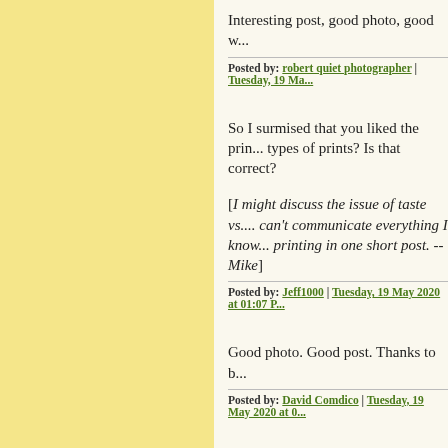Interesting post, good photo, good w...
Posted by: robert quiet photographer | Tuesday, 19 Ma...
So I surmised that you liked the prin... types of prints? Is that correct?
[I might discuss the issue of taste vs.... can't communicate everything I know... printing in one short post. --Mike]
Posted by: Jeff1000 | Tuesday, 19 May 2020 at 01:07 P...
Good photo. Good post. Thanks to b...
Posted by: David Comdico | Tuesday, 19 May 2020 at 0...
I really enjoyed this first print crit, M... whole series!
I love the soft qualities of the print a...